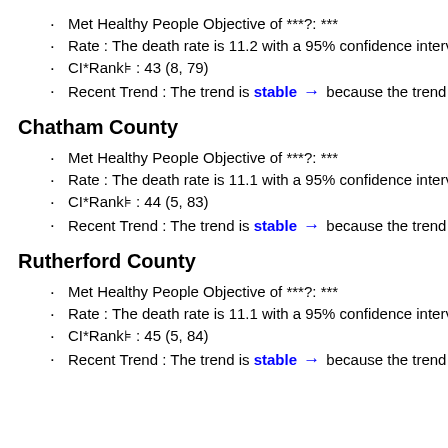Met Healthy People Objective of ***?: ***
Rate : The death rate is 11.2 with a 95% confidence interv
CI*Rank⋔ : 43 (8, 79)
Recent Trend : The trend is stable → because the trend is
Chatham County
Met Healthy People Objective of ***?: ***
Rate : The death rate is 11.1 with a 95% confidence interv
CI*Rank⋔ : 44 (5, 83)
Recent Trend : The trend is stable → because the trend is
Rutherford County
Met Healthy People Objective of ***?: ***
Rate : The death rate is 11.1 with a 95% confidence interv
CI*Rank⋔ : 45 (5, 84)
Recent Trend : The trend is stable → because the trend is